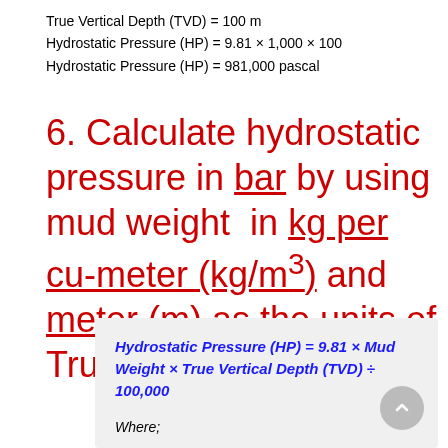True Vertical Depth (TVD) = 100 m
Hydrostatic Pressure (HP) = 9.81 × 1,000 × 100
Hydrostatic Pressure (HP) = 981,000 pascal
6. Calculate hydrostatic pressure in bar by using mud weight in kg per cu-meter (kg/m³) and meter (m) as the units of True Vertical Depth.
Where;